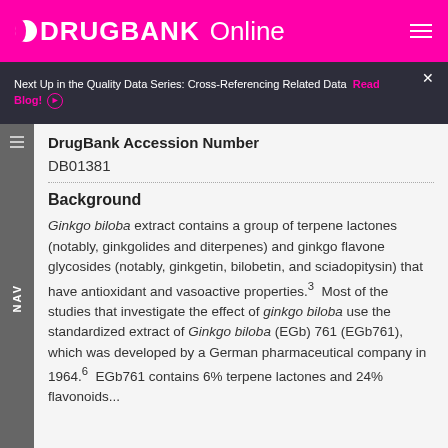DRUGBANK Online
Next Up in the Quality Data Series: Cross-Referencing Related Data  Read Blog!
DrugBank Accession Number
DB01381
Background
Ginkgo biloba extract contains a group of terpene lactones (notably, ginkgolides and diterpenes) and ginkgo flavone glycosides (notably, ginkgetin, bilobetin, and sciadopitysin) that have antioxidant and vasoactive properties.3  Most of the studies that investigate the effect of ginkgo biloba use the standardized extract of Ginkgo biloba (EGb) 761 (EGb761), which was developed by a German pharmaceutical company in 1964.6  EGb761 contains 6% terpene lactones and 24% flavonoids...